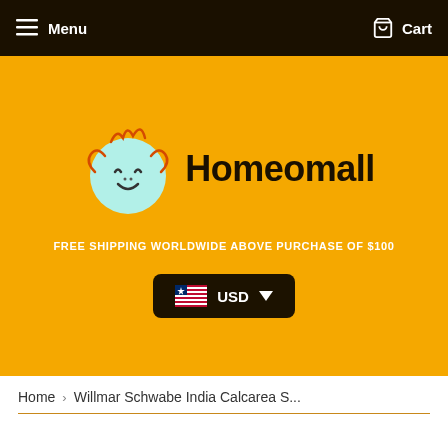Menu    Cart
[Figure (logo): Homeomall logo: mint green circular character with curly hair and smile, next to bold black text 'Homeomall' on orange background]
FREE SHIPPING WORLDWIDE ABOVE PURCHASE OF $100
USD (Liberian flag currency selector dropdown)
Home › Willmar Schwabe India Calcarea S...